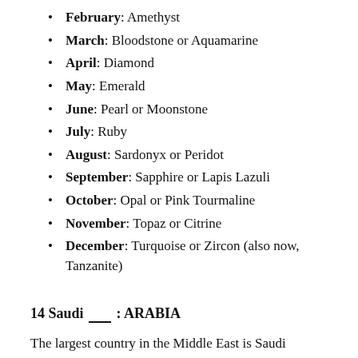February: Amethyst
March: Bloodstone or Aquamarine
April: Diamond
May: Emerald
June: Pearl or Moonstone
July: Ruby
August: Sardonyx or Peridot
September: Sapphire or Lapis Lazuli
October: Opal or Pink Tourmaline
November: Topaz or Citrine
December: Turquoise or Zircon (also now, Tanzanite)
14 Saudi ___ : ARABIA
The largest country in the Middle East is Saudi Arabia, which covers over 750,000 square miles. The smallest country is Bahrain, which covers less than 700 square miles.